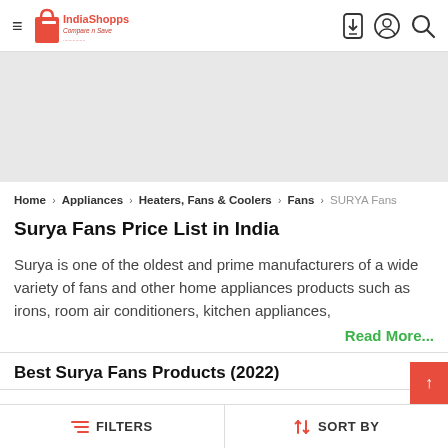IndiaShopps - Compare n Save
Home > Appliances > Heaters, Fans & Coolers > Fans > SURYA Fans
Surya Fans Price List in India
Surya is one of the oldest and prime manufacturers of a wide variety of fans and other home appliances products such as irons, room air conditioners, kitchen appliances,
Read More...
Best Surya Fans Products (2022)